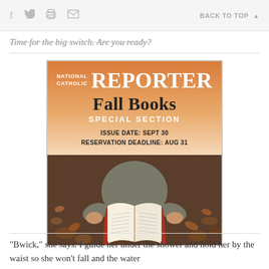f  [twitter]  [print]  [email]  BACK TO TOP ▲
Time for the big switch. Are you ready?
[Figure (advertisement): National Catholic Reporter Fall Books Special Section advertisement. Orange gradient background with white text. NATIONAL CATHOLIC REPORTER in header, Fall Books in large dark text, SPECIAL SECTION below, ISSUE DATE: SEPT 30, RESERVATION DEADLINE: AUG 31. Bottom half shows a person holding an open book with autumn leaves in the background.]
"Bwick," she says. I guide her under the shower and hold her by the waist so she won't fall and the water